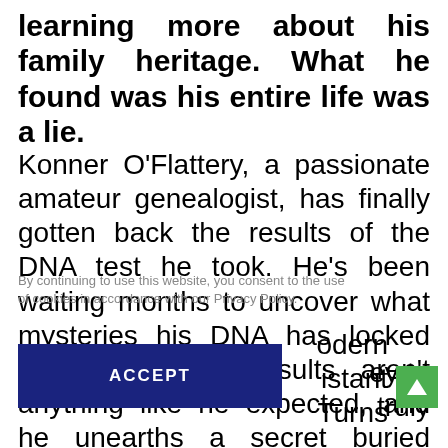learning more about his family heritage. What he found was his entire life was a lie.
Konner O'Flattery, a passionate amateur genealogist, has finally gotten back the results of the DNA test he took. He's been waiting months to uncover what mysteries his DNA has locked inside. But his results aren't anything like he expected, and he unearths a secret buried since birth. His heart becomes shattered leaving no room for forgiveness. Now, Konner f… [ey to] [truly]
By continuing to use this website, you consent to the use of cookies in accordance with our Privacy Policy.
ACCEPT
odern istant Turns